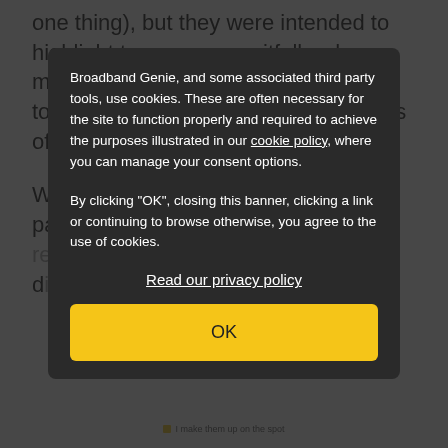one thing), but they were intended to highlight two common pitfalls when making passwords: phrases that are too short, and using simple substitutes of numbers for letters.
When it comes to making new passwords, the methodology survey respondents use with other has...
[Figure (screenshot): Cookie consent modal overlay on a dark semi-transparent background. Modal contains text about Broadband Genie cookie policy, a 'Read our privacy policy' link, and an OK button.]
I make them up on the spot